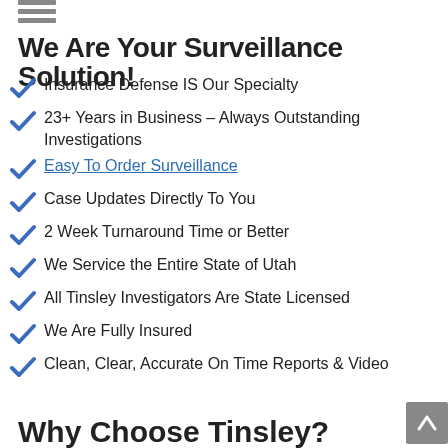We Are Your Surveillance Solution!
Insurance Defense IS Our Specialty
23+ Years in Business – Always Outstanding Investigations
Easy To Order Surveillance
Case Updates Directly To You
2 Week Turnaround Time or Better
We Service the Entire State of Utah
All Tinsley Investigators Are State Licensed
We Are Fully Insured
Clean, Clear, Accurate On Time Reports & Video
Why Choose Tinsley?